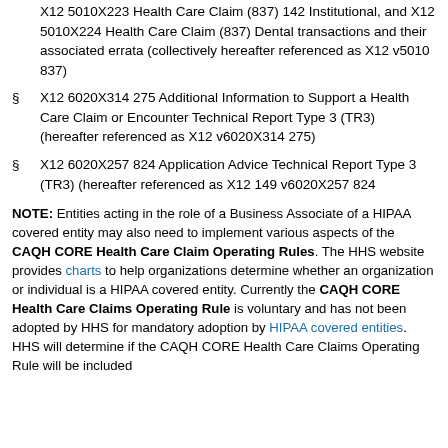X12 5010X223 Health Care Claim (837) 142 Institutional, and X12 5010X224 Health Care Claim (837) Dental transactions and their associated errata (collectively hereafter referenced as X12 v5010 837)
§ X12 6020X314 275 Additional Information to Support a Health Care Claim or Encounter Technical Report Type 3 (TR3) (hereafter referenced as X12 v6020X314 275)
§ X12 6020X257 824 Application Advice Technical Report Type 3 (TR3) (hereafter referenced as X12 149 v6020X257 824
NOTE: Entities acting in the role of a Business Associate of a HIPAA covered entity may also need to implement various aspects of the CAQH CORE Health Care Claim Operating Rules. The HHS website provides charts to help organizations determine whether an organization or individual is a HIPAA covered entity. Currently the CAQH CORE Health Care Claims Operating Rule is voluntary and has not been adopted by HHS for mandatory adoption by HIPAA covered entities. HHS will determine if the CAQH CORE Health Care Claims Operating Rule will be included